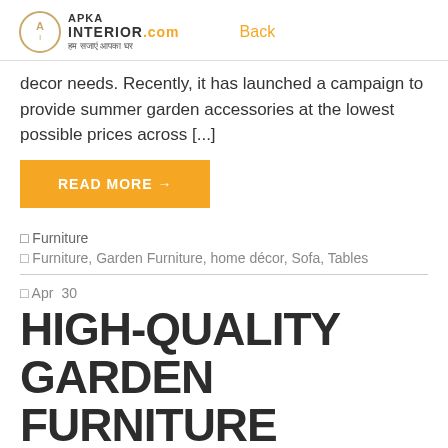APKA INTERIOR.com हम सजाएं आपका घर | Back
decor needs. Recently, it has launched a campaign to provide summer garden accessories at the lowest possible prices across [...]
READ MORE →
□ Furniture
□ Furniture, Garden Furniture, home décor, Sofa, Tables
□ Apr  30
HIGH-QUALITY GARDEN FURNITURE